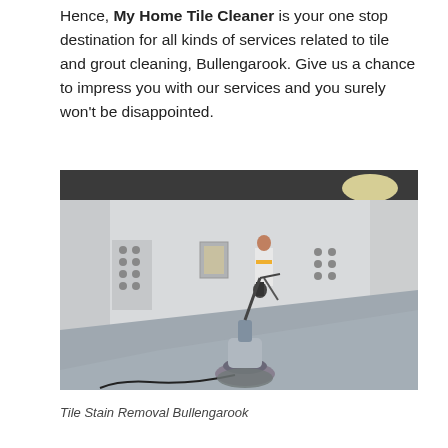Hence, My Home Tile Cleaner is your one stop destination for all kinds of services related to tile and grout cleaning, Bullengarook. Give us a chance to impress you with our services and you surely won't be disappointed.
[Figure (photo): A large indoor room with a shiny grey tiled floor. In the foreground is a floor polishing/buffing machine. In the background, a worker in a hi-vis vest is operating cleaning equipment near a white wall with panels and fixtures.]
Tile Stain Removal Bullengarook